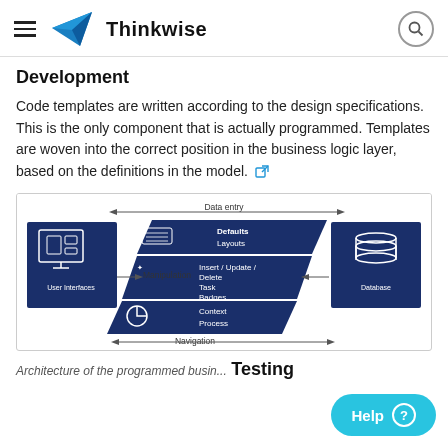Thinkwise
Development
Code templates are written according to the design specifications. This is the only component that is actually programmed. Templates are woven into the correct position in the business logic layer, based on the definitions in the model.
[Figure (schematic): Architecture diagram showing User Interfaces connected via Data entry, Manipulation, and Navigation arrows to a central business logic layer (with Defaults/Layouts, Insert/Update/Delete/Task/Badges, and Context/Process components) connected to a Database.]
Architecture of the programmed busin...
Testing